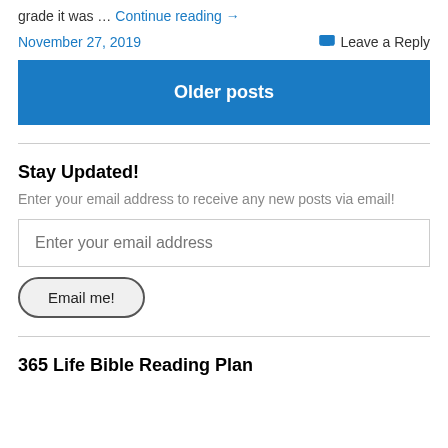grade it was … Continue reading →
November 27, 2019    Leave a Reply
Older posts
Stay Updated!
Enter your email address to receive any new posts via email!
Enter your email address
Email me!
365 Life Bible Reading Plan